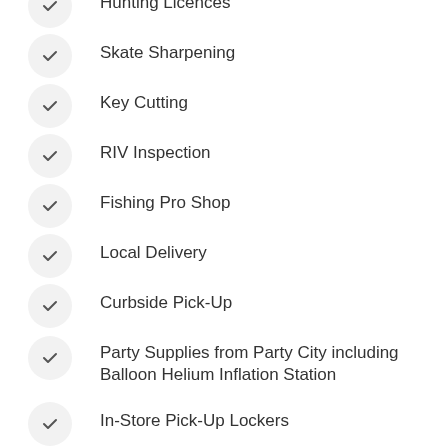Hunting Licences
Skate Sharpening
Key Cutting
RIV Inspection
Fishing Pro Shop
Local Delivery
Curbside Pick-Up
Party Supplies from Party City including Balloon Helium Inflation Station
In-Store Pick-Up Lockers